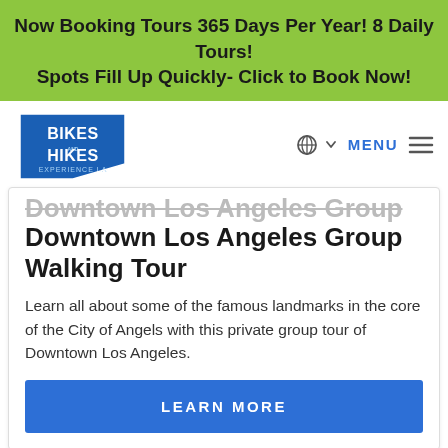Now Booking Tours 365 Days Per Year! 8 Daily Tours! Spots Fill Up Quickly- Click to Book Now!
[Figure (logo): Bikes and Hikes LA logo — blue triangle with white text BIKES & HIKES and EXPERIENCE LA]
[Figure (infographic): Globe icon with dropdown arrow and hamburger MENU icon in navigation bar]
Downtown Los Angeles Group Walking Tour
Learn all about some of the famous landmarks in the core of the City of Angels with this private group tour of Downtown Los Angeles.
LEARN MORE
[Figure (screenshot): Gray placeholder area at bottom of page with a blue circular chat/microphone button overlay at lower right]